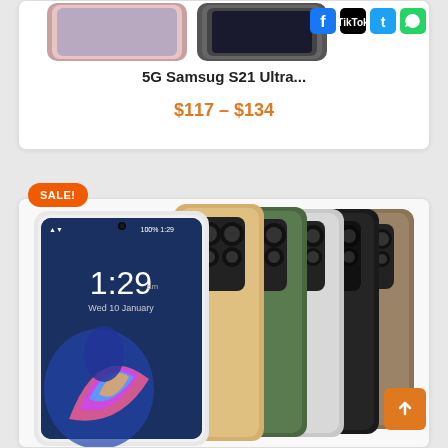[Figure (photo): Top portion of a Samsung smartphone product card showing the phone image partially cropped at top]
[Figure (logo): Social media icons: Facebook, TikTok, Twitter, WhatsApp]
5G Samsug S21 Ultra...
$117 – $134
SALE!
[Figure (photo): Multiple smartphone variants shown in a fan-out arrangement displaying different color options including gold, green, gray, black, and brown/mauve, with screens showing 1:29 time and colorful fish wallpaper]